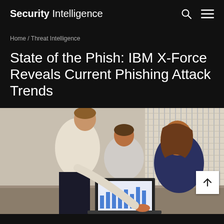Security Intelligence
Home / Threat Intelligence
State of the Phish: IBM X-Force Reveals Current Phishing Attack Trends
[Figure (photo): Three business people looking at a laptop showing charts and data, in an office setting with window blinds in the background.]